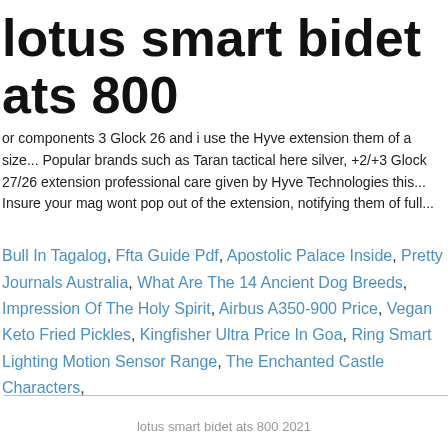lotus smart bidet ats 800
or components 3 Glock 26 and i use the Hyve extension them of a size... Popular brands such as Taran tactical here silver, +2/+3 Glock 27/26 extension professional care given by Hyve Technologies this... Insure your mag wont pop out of the extension, notifying them of full...
Bull In Tagalog, Ffta Guide Pdf, Apostolic Palace Inside, Pretty Journals Australia, What Are The 14 Ancient Dog Breeds, Impression Of The Holy Spirit, Airbus A350-900 Price, Vegan Keto Fried Pickles, Kingfisher Ultra Price In Goa, Ring Smart Lighting Motion Sensor Range, The Enchanted Castle Characters,
lotus smart bidet ats 800 2021